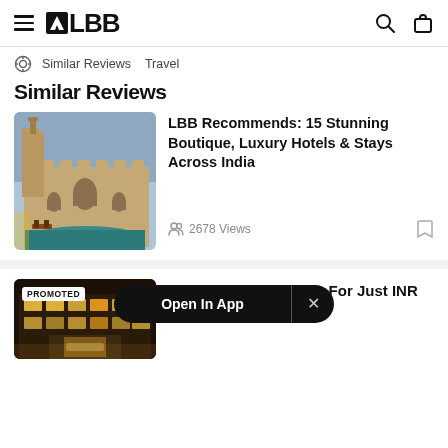LBB
Similar Reviews   Travel
Similar Reviews
[Figure (photo): Photo of a luxury boutique hotel with a pool, fort-like architecture at dusk]
LBB Recommends: 15 Stunning Boutique, Luxury Hotels & Stays Across India
2678 Views
[Figure (photo): Photo of a hotel building at night with illuminated interior, PROMOTED badge]
in Views Or Just ggar, For Just INR 399